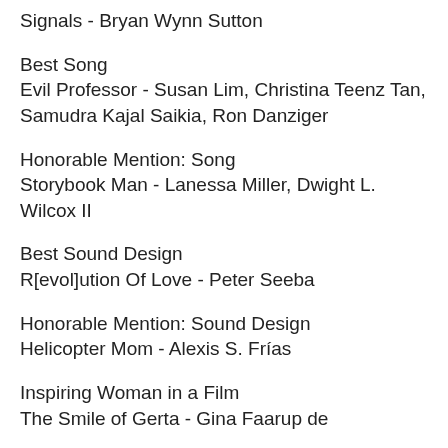Signals - Bryan Wynn Sutton
Best Song
Evil Professor - Susan Lim, Christina Teenz Tan, Samudra Kajal Saikia, Ron Danziger
Honorable Mention: Song
Storybook Man - Lanessa Miller, Dwight L. Wilcox II
Best Sound Design
R[evol]ution Of Love - Peter Seeba
Honorable Mention: Sound Design
Helicopter Mom - Alexis S. Frías
Inspiring Woman in a Film
The Smile of Gerta - Gina Faarup de